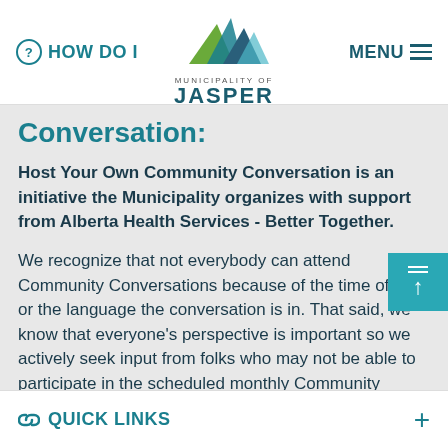HOW DO I  |  Municipality of Jasper  |  MENU
Conversation:
Host Your Own Community Conversation is an initiative the Municipality organizes with support from Alberta Health Services - Better Together.
We recognize that not everybody can attend Community Conversations because of the time of day or the language the conversation is in. That said, we know that everyone's perspective is important so we actively seek input from folks who may not be able to participate in the scheduled monthly Community Conversations.
QUICK LINKS